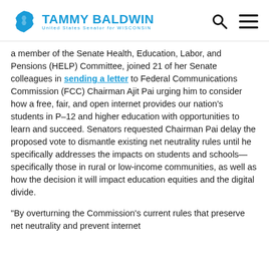TAMMY BALDWIN — United States Senator for WISCONSIN
a member of the Senate Health, Education, Labor, and Pensions (HELP) Committee, joined 21 of her Senate colleagues in sending a letter to Federal Communications Commission (FCC) Chairman Ajit Pai urging him to consider how a free, fair, and open internet provides our nation's students in P–12 and higher education with opportunities to learn and succeed. Senators requested Chairman Pai delay the proposed vote to dismantle existing net neutrality rules until he specifically addresses the impacts on students and schools—specifically those in rural or low-income communities, as well as how the decision it will impact education equities and the digital divide.
“By overturning the Commission’s current rules that preserve net neutrality and prevent internet